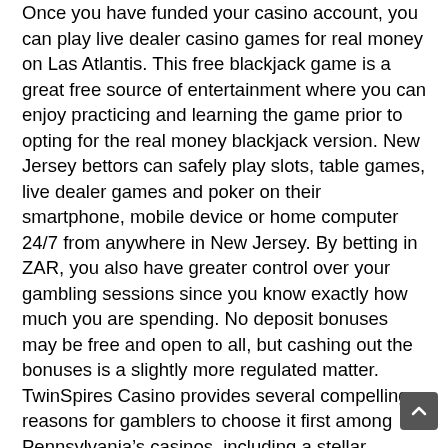Once you have funded your casino account, you can play live dealer casino games for real money on Las Atlantis. This free blackjack game is a great free source of entertainment where you can enjoy practicing and learning the game prior to opting for the real money blackjack version. New Jersey bettors can safely play slots, table games, live dealer games and poker on their smartphone, mobile device or home computer 24/7 from anywhere in New Jersey. By betting in ZAR, you also have greater control over your gambling sessions since you know exactly how much you are spending. No deposit bonuses may be free and open to all, but cashing out the bonuses is a slightly more regulated matter. TwinSpires Casino provides several compelling reasons for gamblers to choose it first among Pennsylvania's casinos, including a stellar reputation and a generous welcome bonus. All the Michigan casinos in our review come with an app. To our surprise, one of the most commonly used online financial services is not currently available at Virgin online casino. Fastest Casino Payouts. Any site that can't get your money to you in a timely fashion should be avoided. Betting...